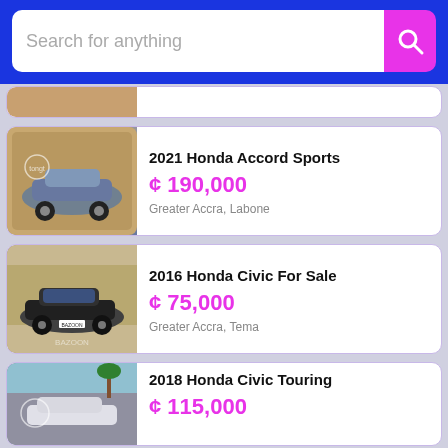[Figure (screenshot): Search bar with 'Search for anything' placeholder text and a magenta search button with magnifying glass icon, on a blue background]
[Figure (photo): Partial listing card cut off at top, showing a brown/sandy background car image]
2021 Honda Accord Sports
¢ 190,000
Greater Accra, Labone
2016 Honda Civic For Sale
¢ 75,000
Greater Accra, Tema
2018 Honda Civic Touring
¢ 115,000